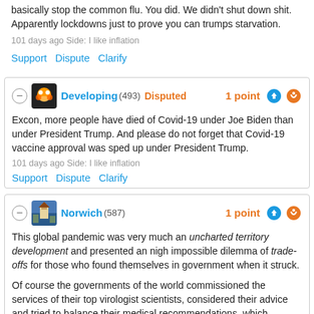basically stop the common flu. You did. We didn't shut down shit. Apparently lockdowns just to prove you can trumps starvation.
101 days ago Side: I like inflation
Support Dispute Clarify
Developing (493) Disputed 1 point
Excon, more people have died of Covid-19 under Joe Biden than under President Trump. And please do not forget that Covid-19 vaccine approval was sped up under President Trump.
101 days ago Side: I like inflation
Support Dispute Clarify
Norwich (587) 1 point
This global pandemic was very much an uncharted territory development and presented an nigh impossible dilemma of trade-offs for those who found themselves in government when it struck.
Of course the governments of the world commissioned the services of their top virologist scientists, considered their advice and tried to balance their medical recommendations, which invariably included lock-downs, with the necessity to maintain the highest degree of economic activity.
The lockdown preventative measure was very much a case of, damned if you do, and damned if you don't.
Trying to make political gain, as Bungling Biden did by stating that when he took office no vaccinations had taken place, when in fact he was one of the recipients of "the jab" during Donald Trump's